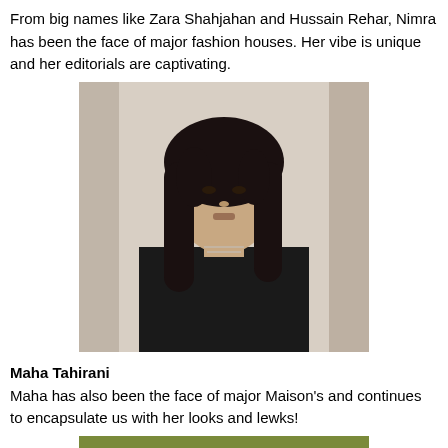From big names like Zara Shahjahan and Hussain Rehar, Nimra has been the face of major fashion houses. Her vibe is unique and her editorials are captivating.
[Figure (photo): A young woman with long curly black hair wearing a black t-shirt, standing against a light beige/cream wall]
Maha Tahirani
Maha has also been the face of major Maison's and continues to encapsulate us with her looks and lewks!
[Figure (photo): A young woman photographed outdoors with greenery/grass in the background, partially visible, cropped at bottom of page]